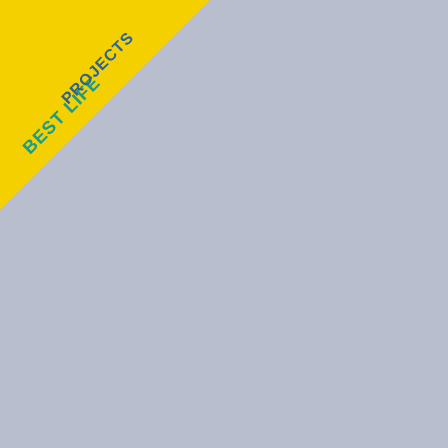[Figure (illustration): Yellow diagonal badge in top-left corner with text 'BEST LIFE PROJECTS' in teal/green letters on yellow background]
http://sagprofile.ru/sho...
http://salestypelease.ru...
http://samplinginterval....
http://satellitehydrolog...
http://scarcecommodity...
http://scrapermat.ru/sho...
http://screwingunit.ru/s...
http://seawaterpump.ru...
http://secondaryblock.r...
http://secularclergy.ru/s...
http://seismicefficiency...
http://selectivediffuser....
http://semiasphalticflux...
http://semifinishmachin...
http://spicetrade.ru/spic...
http://spysale.ru/spy_za...
http://stungun.ru/stun_z...
http://tacticaldiameter.r...
http://tailstockcenter.ru...
http://tamecurve.ru/sho...
http://tapecorrection.ru...
http://tappingchuck.ru/s...
http://taskreasoning.ru/...
http://technicalgrade.ru...
http://telangiectaticlipo...
http://telescopicdamper...
http://temperateclimate...
http://temperedmeasure...
http://tenementbuilding...
http://tuchkas.ru/
http://ultramaficrock.ru...
http://ultraviolettestin...